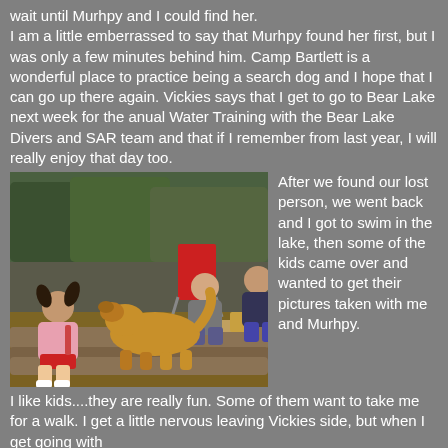wait until Murhpy and I could find her. I am a little emberrassed to say that Murhpy found her first, but I was only a few minutes behind him. Camp Bartlett is a wonderful place to practice being a search dog and I hope that I can go up there again. Vickies says that I get to go to Bear Lake next week for the anual Water Training with the Bear Lake Divers and SAR team and that if I remember from last year, I will really enjoy that day too.
[Figure (photo): A golden retriever dog sitting on a log among people at a campsite outdoors. A young girl with pigtails in a pink jacket sits on the left. Two adults, a woman and a man, sit behind the dog on a log. A red camping chair is visible in the background with trees.]
After we found our lost person, we went back and I got to swim in the lake, then some of the kids came over and wanted to get their pictures taken with me and Murhpy. I like kids....they are really fun. Some of them want to take me for a walk. I get a little nervous leaving Vickies side, but when I get going with